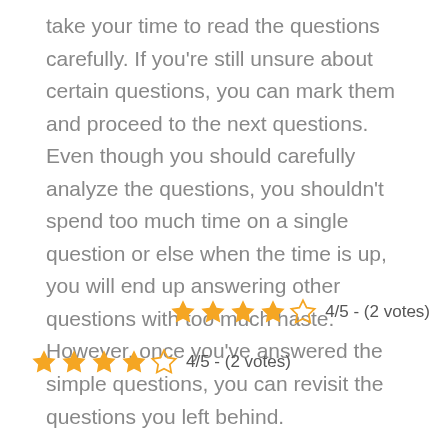take your time to read the questions carefully. If you're still unsure about certain questions, you can mark them and proceed to the next questions. Even though you should carefully analyze the questions, you shouldn't spend too much time on a single question or else when the time is up, you will end up answering other questions with too much haste. However, once you've answered the simple questions, you can revisit the questions you left behind.
4/5 - (2 votes)
4/5 - (2 votes)